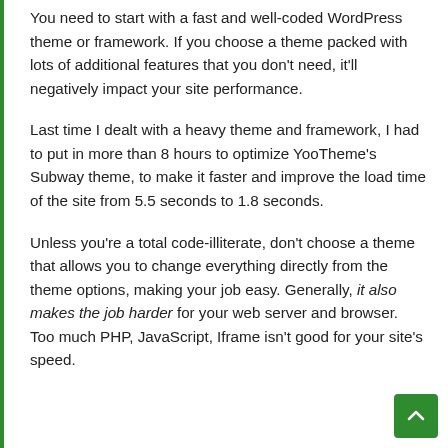You need to start with a fast and well-coded WordPress theme or framework. If you choose a theme packed with lots of additional features that you don't need, it'll negatively impact your site performance.
Last time I dealt with a heavy theme and framework, I had to put in more than 8 hours to optimize YooTheme's Subway theme, to make it faster and improve the load time of the site from 5.5 seconds to 1.8 seconds.
Unless you're a total code-illiterate, don't choose a theme that allows you to change everything directly from the theme options, making your job easy. Generally, it also makes the job harder for your web server and browser. Too much PHP, JavaScript, Iframe isn't good for your site's speed.